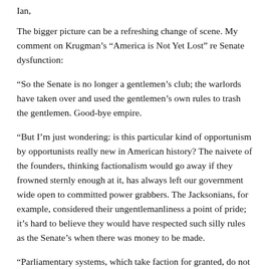Ian,
The bigger picture can be a refreshing change of scene. My comment on Krugman’s “America is Not Yet Lost” re Senate dysfunction:
“So the Senate is no longer a gentlemen’s club; the warlords have taken over and used the gentlemen’s own rules to trash the gentlemen. Good-bye empire.
“But I’m just wondering: is this particular kind of opportunism by opportunists really new in American history? The naivete of the founders, thinking factionalism would go away if they frowned sternly enough at it, has always left our government wide open to committed power grabbers. The Jacksonians, for example, considered their ungentlemanliness a point of pride; it’s hard to believe they would have respected such silly rules as the Senate’s when there was money to be made.
“Parliamentary systems, which take faction for granted, do not aim for disinterested nobility but seem to work better”